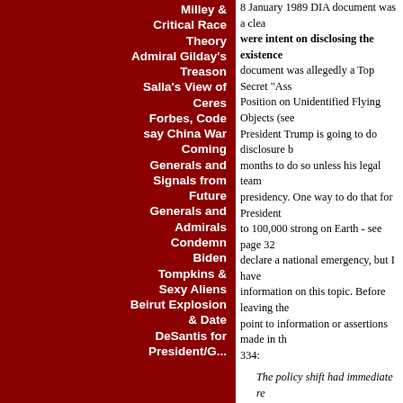Milley & Critical Race Theory
Admiral Gilday's Treason
Salla's View of Ceres
Forbes, Code say China War Coming
Generals and Signals from Future
Generals and Admirals Condemn Biden
Tompkins & Sexy Aliens
Beirut Explosion & Date
DeSantis for President/G...
8 January 1989 DIA document was a clear... were intent on disclosing the existence... document was allegedly a Top Secret "Ass... Position on Unidentified Flying Objects (see... President Trump is going to do disclosure b... months to do so unless his legal team... presidency. One way to do that for President... to 100,000 strong on Earth - see page 32... declare a national emergency, but I have... information on this topic. Before leaving the... point to information or assertions made in the... 334:
The policy shift had immediate re... Program) began to allow photograph... coming out of sensitive facilities su... Special Operations Command. This... SSP was planning to disclose itself s... the USAF SSP began to cooperate w... time turned their secret space asset... defunct German/Reptilian/Gray allies... the USAF SSP partnered with the N... ballistic missile attack on Hawaii I... intended to start World War III.
Notice that the subtitle of Salla's Air F...